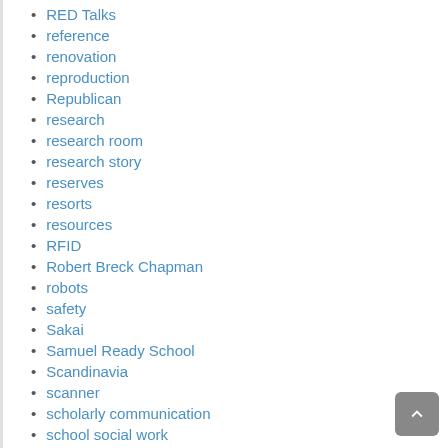RED Talks
reference
renovation
reproduction
Republican
research
research room
research story
reserves
resorts
resources
RFID
Robert Breck Chapman
robots
safety
Sakai
Samuel Ready School
Scandinavia
scanner
scholarly communication
school social work